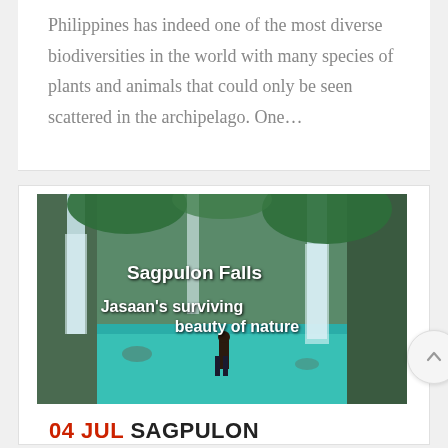Philippines has indeed one of the most diverse biodiversities in the world with many species of plants and animals that could only be seen scattered in the archipelago. One…
[Figure (photo): Waterfall scene at Sagpulon Falls with text overlay reading 'Sagpulon Falls' and 'Jasaan’s surviving beauty of nature', person standing at water's edge]
04 JUL SAGPULON